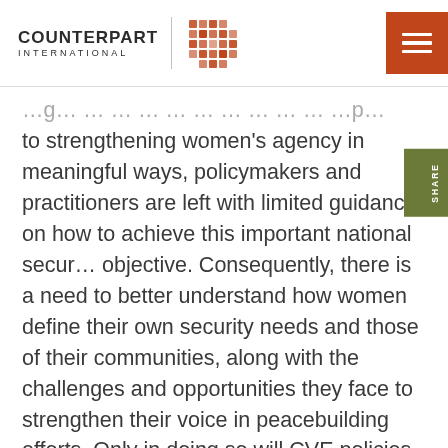[Figure (logo): Counterpart International logo with text and woven basket icon]
to strengthening women's agency in meaningful ways, policymakers and practitioners are left with limited guidance on how to achieve this important national security objective. Consequently, there is a need to better understand how women define their own security needs and those of their communities, along with the challenges and opportunities they face to strengthen their voice in peacebuilding efforts. Only in doing so will CVE policies and programs be truly committed to furthering women's agency